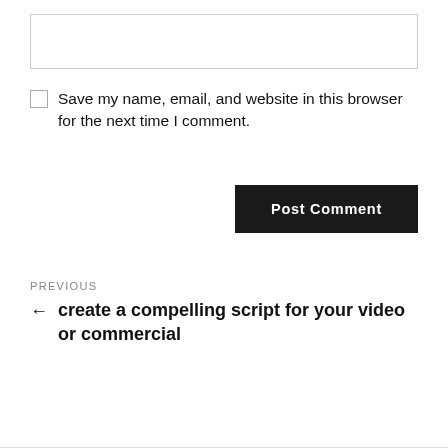[Figure (other): Text input textarea box with border]
Save my name, email, and website in this browser for the next time I comment.
Post Comment
PREVIOUS
← create a compelling script for your video or commercial